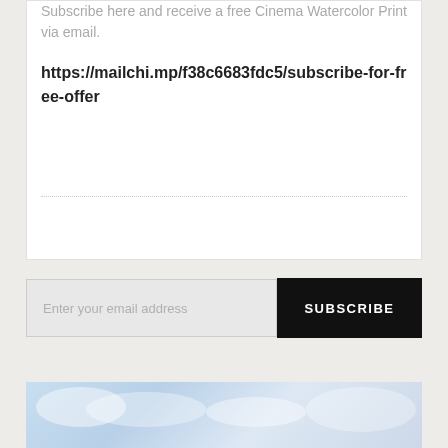Subscribe here and receive a free Cinema Watercolor Print via email.
https://mailchi.mp/f38c6683fdc5/subscribe-for-free-offer
Enter your email address
SUBSCRIBE
[Figure (photo): Blue and white watercolor cloud image at the bottom of the page]